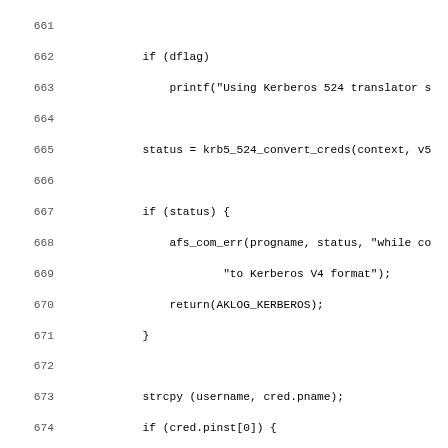[Figure (screenshot): Source code listing lines 661-692 in monospace font showing C code with Kerberos 524 conversion, credential handling, and token assignment logic]